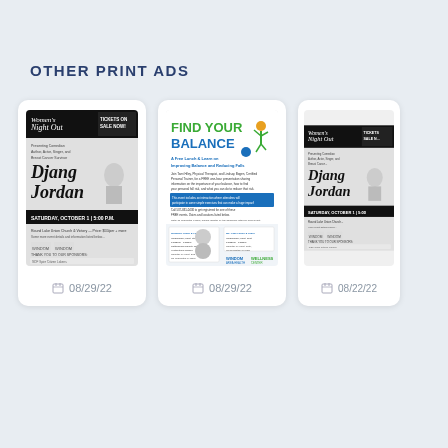OTHER PRINT ADS
[Figure (photo): Thumbnail of Women's Night Out print ad featuring Djang Jordan, event on Saturday October 1, 5:00 PM]
08/29/22
[Figure (photo): Thumbnail of Find Your Balance print ad - A Free Lunch & Learn on Improving Balance and Reducing Falls, featuring Windom Area Health and Wellness Center]
08/29/22
[Figure (photo): Thumbnail of Women's Night Out print ad (partially cropped), same event Saturday October 1, 5:00]
08/22/22